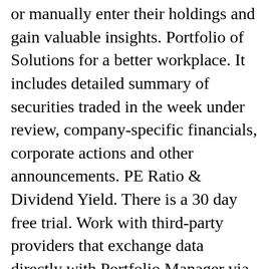or manually enter their holdings and gain valuable insights. Portfolio of Solutions for a better workplace. It includes detailed summary of securities traded in the week under review, company-specific financials, corporate actions and other announcements. PE Ratio & Dividend Yield. There is a 30 day free trial. Work with third-party providers that exchange data directly with Portfolio Manager via web services. Portfolio Manager in charge of investing 1 million dollars; performed qualitative and quantitative research to draw conclusions and set the strategic direction for the portfolio. Advent Portfolio Exchange (APX) is the integrated portfolio and client management solution that puts everyone in your firm on the same platform and the same page. Project portfolio management is the process by which an organization focuses its limited